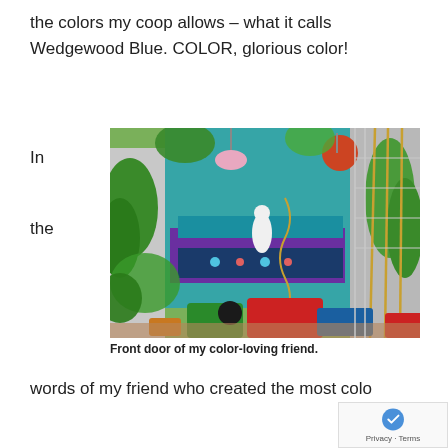the colors my coop allows – what it calls Wedgewood Blue. COLOR, glorious color!
In
the
[Figure (photo): Colorful front door garden with many potted plants, hanging baskets, a white statue, purple and teal painted structures, and bamboo plant supports.]
Front door of my color-loving friend.
words of my friend who created the most colo